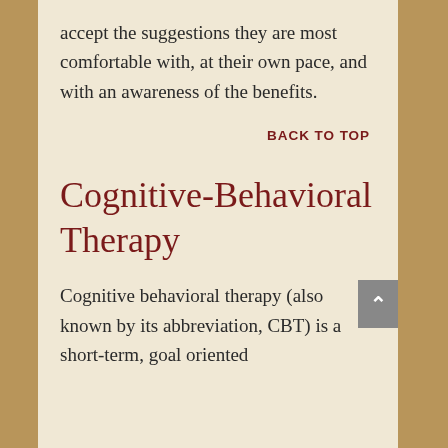accept the suggestions they are most comfortable with, at their own pace, and with an awareness of the benefits.
BACK TO TOP
Cognitive-Behavioral Therapy
Cognitive behavioral therapy (also known by its abbreviation, CBT) is a short-term, goal oriented